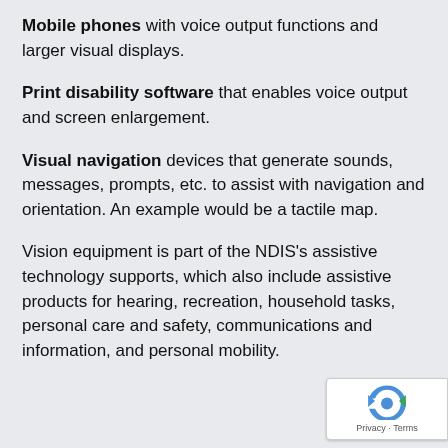Mobile phones with voice output functions and larger visual displays.
Print disability software that enables voice output and screen enlargement.
Visual navigation devices that generate sounds, messages, prompts, etc. to assist with navigation and orientation. An example would be a tactile map.
Vision equipment is part of the NDIS's assistive technology supports, which also include assistive products for hearing, recreation, household tasks, personal care and safety, communications and information, and personal mobility.